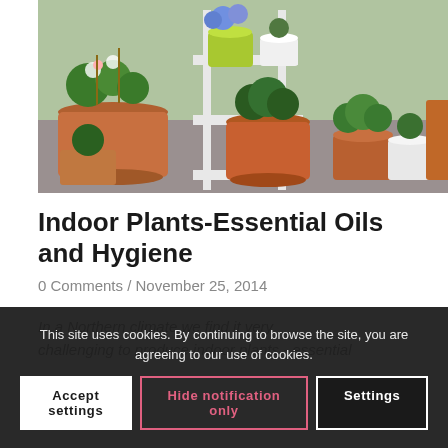[Figure (photo): Photograph of multiple potted plants including herbs and flowering plants arranged on a white tiered shelf/stand, with terracotta pots, a lime green pot with blue flowers, and white pots, set outdoors on a patio/balcony.]
Indoor Plants-Essential Oils and Hygiene
0 Comments / November 25, 2014
In a Northern climate we find it very challenging to produce indoor plants - essential
This site uses cookies. By continuing to browse the site, you are agreeing to our use of cookies.